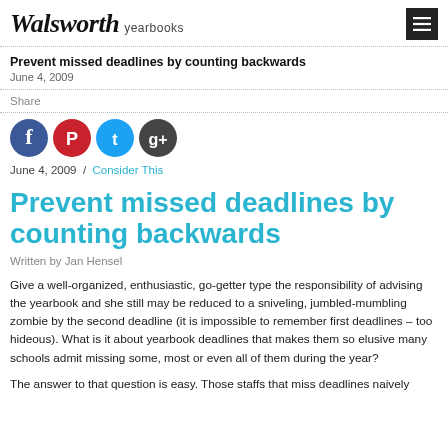Walsworth yearbooks
Prevent missed deadlines by counting backwards
June 4, 2009
Share
[Figure (infographic): Social media share icons: Facebook, Pinterest, Twitter, Google+]
June 4, 2009 / Consider This
Prevent missed deadlines by counting backwards
Written by Jan Hensel
Give a well-organized, enthusiastic, go-getter type the responsibility of advising the yearbook and she still may be reduced to a sniveling, jumbled-mumbling zombie by the second deadline (it is impossible to remember first deadlines – too hideous). What is it about yearbook deadlines that makes them so elusive many schools admit missing some, most or even all of them during the year?
The answer to that question is easy. Those staffs that miss deadlines naively